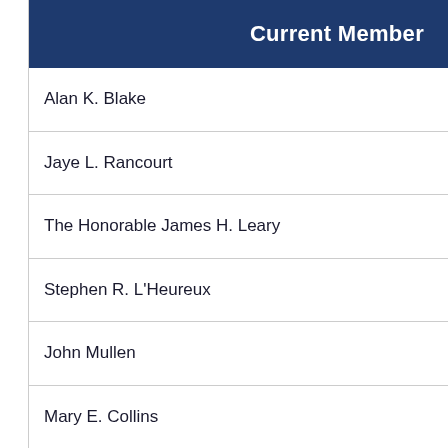Current Member
Alan K. Blake
Jaye L. Rancourt
The Honorable James H. Leary
Stephen R. L'Heureux
John Mullen
Mary E. Collins